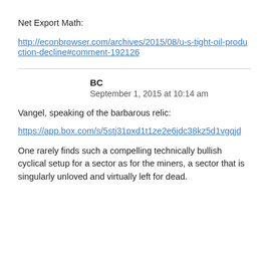Net Export Math:
http://econbrowser.com/archives/2015/08/u-s-tight-oil-production-decline#comment-192126
BC
September 1, 2015 at 10:14 am
Vangel, speaking of the barbarous relic:
https://app.box.com/s/5stj31pxd1t1ze2e6jdc38kz5d1vgqjd
One rarely finds such a compelling technically bullish cyclical setup for a sector as for the miners, a sector that is singularly unloved and virtually left for dead.